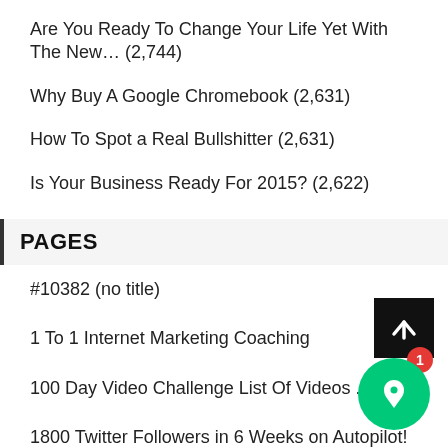Are You Ready To Change Your Life Yet With The New… (2,744)
Why Buy A Google Chromebook (2,631)
How To Spot a Real Bullshitter (2,631)
Is Your Business Ready For 2015? (2,622)
PAGES
#10382 (no title)
1 To 1 Internet Marketing Coaching
100 Day Video Challenge List Of Videos ...
1800 Twitter Followers in 6 Weeks on Autopilot!